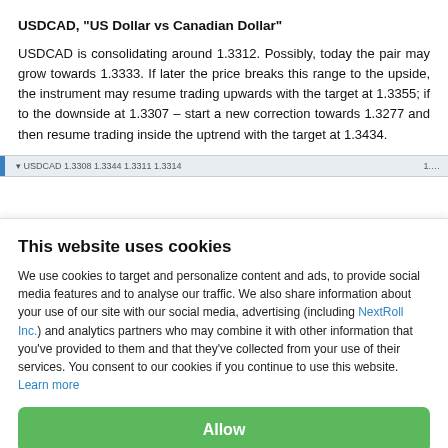USDCAD, "US Dollar vs Canadian Dollar"
USDCAD is consolidating around 1.3312. Possibly, today the pair may grow towards 1.3333. If later the price breaks this range to the upside, the instrument may resume trading upwards with the target at 1.3355; if to the downside at 1.3307 – start a new correction towards 1.3277 and then resume trading inside the uptrend with the target at 1.3434.
[Figure (screenshot): Partial chart screenshot showing USDCAD price chart header bar with ticker info]
This website uses cookies
We use cookies to target and personalize content and ads, to provide social media features and to analyse our traffic. We also share information about your use of our site with our social media, advertising (including NextRoll Inc.) and analytics partners who may combine it with other information that you've provided to them and that they've collected from your use of their services. You consent to our cookies if you continue to use this website. Learn more